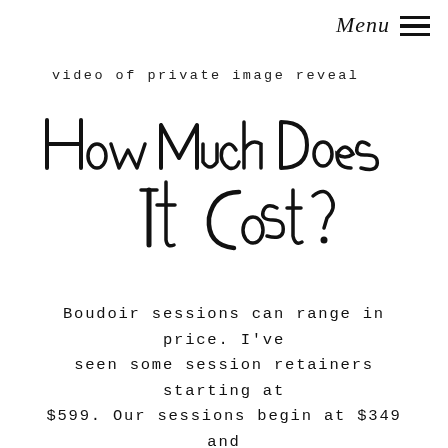Menu ≡
video of private image reveal
How Much Does It Cost?
Boudoir sessions can range in price. I've seen some session retainers starting at $599. Our sessions begin at $349 and include hair, makeup, and the photoshoot. Albums, prints, wall-art, and digitals are additional.